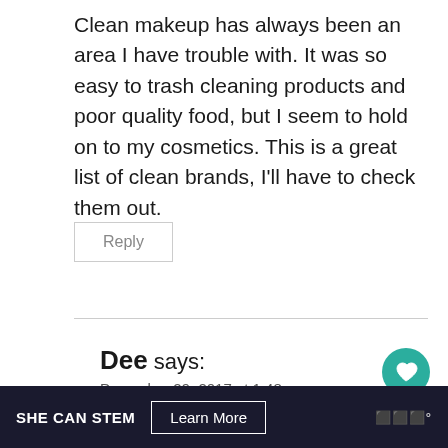Clean makeup has always been an area I have trouble with. It was so easy to trash cleaning products and poor quality food, but I seem to hold on to my cosmetics. This is a great list of clean brands, I'll have to check them out.
Reply
Dee says:
December 29, 2017 at 1:48 pm
I have heard that before. We stick to the
[Figure (other): Heart/like floating action button (teal circle with white heart icon)]
[Figure (other): Share floating action button (white circle with share icon and plus symbol)]
SHE CAN STEM  Learn More